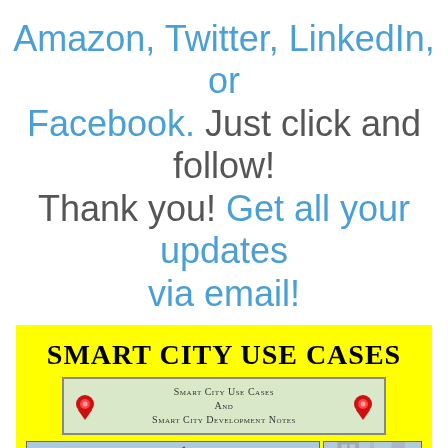Amazon, Twitter, LinkedIn, or Facebook. Just click and follow! Thank you!  Get all your updates via email!
[Figure (illustration): Book cover for 'Smart City Use Cases' with yellow background, large bold title text, a green banner with location pins showing 'Smart City Use Cases And Smart City Development Notes', a city skyline photo with satellite and location pin icons overlaid, a side city image, and two smaller images at the bottom partially visible.]